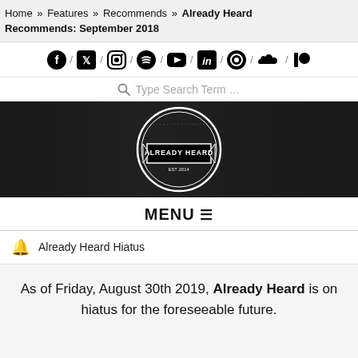Home » Features » Recommends » Already Heard Recommends: September 2018
[Figure (infographic): Social media icon row: Facebook, Twitter, Instagram, Spotify, YouTube, LinkedIn, a circular icon, SoundCloud, Patreon — separated by slashes]
Type Search Term …
[Figure (logo): Already Heard circular logo badge on dark banner background]
MENU ☰
🔔 Already Heard Hiatus
As of Friday, August 30th 2019, Already Heard is on hiatus for the foreseeable future.